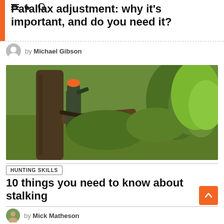Parallax adjustment: why it's important, and do you need it?
by Michael Gibson
[Figure (photo): Hunter in camouflage gear with orange cap leaning against a large tree, looking through binoculars, holding a rifle, with green bushland in background]
HUNTING SKILLS
10 things you need to know about stalking
by Mick Matheson